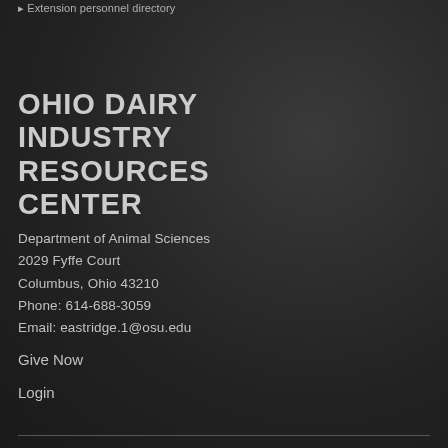Extension personnel directory
OHIO DAIRY INDUSTRY RESOURCES CENTER
Department of Animal Sciences
2029 Fyffe Court
Columbus, Ohio 43210
Phone: 614-688-3059
Email: eastridge.1@osu.edu
Give Now
Login